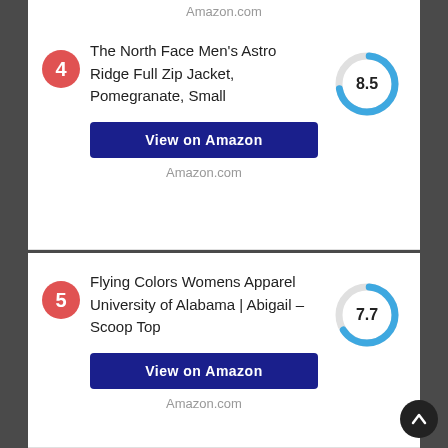Amazon.com
4 The North Face Men's Astro Ridge Full Zip Jacket, Pomegranate, Small
[Figure (donut-chart): Score]
View on Amazon
Amazon.com
5 Flying Colors Womens Apparel University of Alabama | Abigail – Scoop Top
[Figure (donut-chart): Score]
View on Amazon
Amazon.com